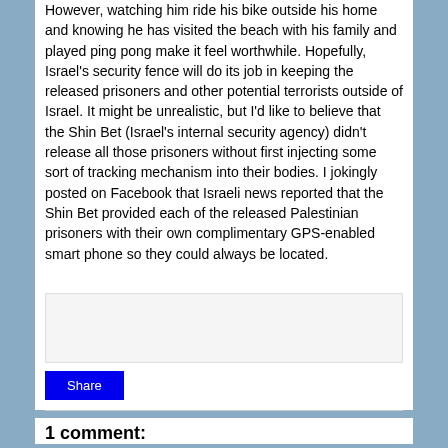However, watching him ride his bike outside his home and knowing he has visited the beach with his family and played ping pong make it feel worthwhile. Hopefully, Israel's security fence will do its job in keeping the released prisoners and other potential terrorists outside of Israel. It might be unrealistic, but I'd like to believe that the Shin Bet (Israel's internal security agency) didn't release all those prisoners without first injecting some sort of tracking mechanism into their bodies. I jokingly posted on Facebook that Israeli news reported that the Shin Bet provided each of the released Palestinian prisoners with their own complimentary GPS-enabled smart phone so they could always be located.
[Figure (other): Share button with comment input box area]
1 comment: